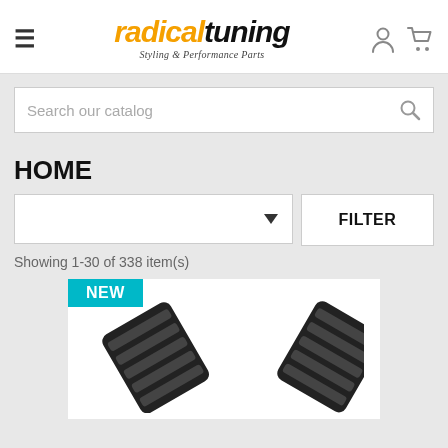radical tuning — Styling & Performance Parts
Search our catalog
HOME
FILTER
Showing 1-30 of 338 item(s)
[Figure (photo): Product image showing a pair of black plastic hood vents/louvers with a 'NEW' badge in teal/cyan color in the top-left corner of the product card.]